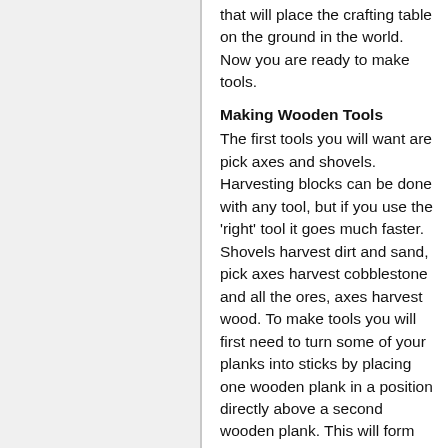that will place the crafting table on the ground in the world. Now you are ready to make tools.
Making Wooden Tools
The first tools you will want are pick axes and shovels. Harvesting blocks can be done with any tool, but if you use the 'right' tool it goes much faster. Shovels harvest dirt and sand, pick axes harvest cobblestone and all the ores, axes harvest wood. To make tools you will first need to turn some of your planks into sticks by placing one wooden plank in a position directly above a second wooden plank. This will form sticks in the output on the right.
This is the recipe for Wooden Pickaxe: